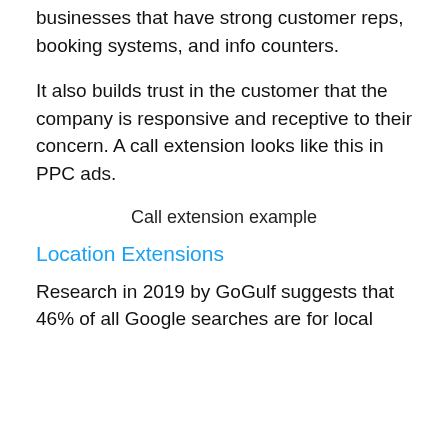businesses that have strong customer reps, booking systems, and info counters.
It also builds trust in the customer that the company is responsive and receptive to their concern. A call extension looks like this in PPC ads.
Call extension example
Location Extensions
Research in 2019 by GoGulf suggests that 46% of all Google searches are for local